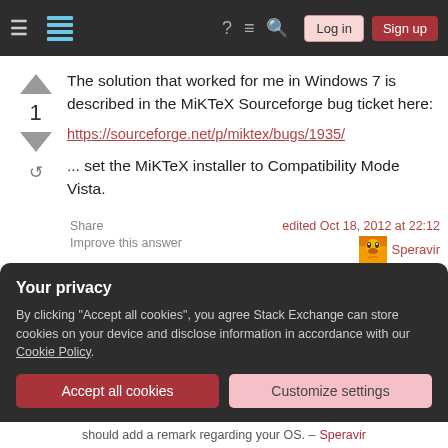Stack Exchange navigation bar with hamburger menu, logo, help, comments, search icons, Log in and Sign up buttons
The solution that worked for me in Windows 7 is described in the MiKTeX Sourceforge bug ticket here:
https://sourceforge.net/p/miktex/bugs/1935/
... set the MiKTeX installer to Compatibility Mode Vista.
Share
Improve this answer
edited Oct 18, 2012 at 22:12
Speravir
Your privacy
By clicking "Accept all cookies", you agree Stack Exchange can store cookies on your device and disclose information in accordance with our Cookie Policy.
Accept all cookies
Customize settings
should add a remark regarding your OS. – Speravir